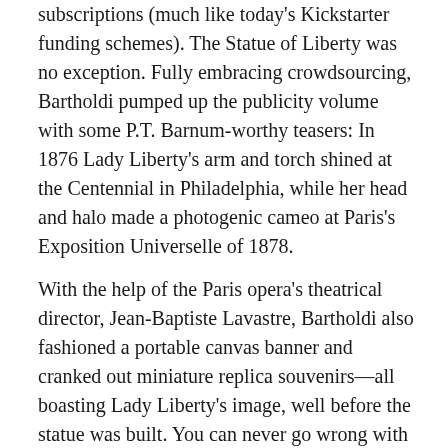subscriptions (much like today's Kickstarter funding schemes). The Statue of Liberty was no exception. Fully embracing crowdsourcing, Bartholdi pumped up the publicity volume with some P.T. Barnum-worthy teasers: In 1876 Lady Liberty's arm and torch shined at the Centennial in Philadelphia, while her head and halo made a photogenic cameo at Paris's Exposition Universelle of 1878.
With the help of the Paris opera's theatrical director, Jean-Baptiste Lavastre, Bartholdi also fashioned a portable canvas banner and cranked out miniature replica souvenirs—all boasting Lady Liberty's image, well before the statue was built. You can never go wrong with swag, I've always said. Apparently Bartholdi felt the same way, because in 1876 he applied for and won a design patent for the Statue of Liberty, which further helped him promote